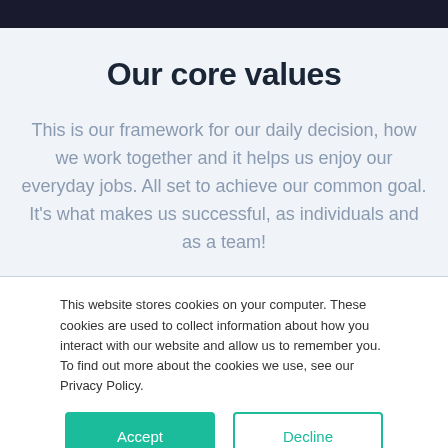Our core values
This is our framework for our daily decision, how we work together and it helps us enjoy our everyday jobs. All set to achieve our common goal. It's what makes us successful, as individuals and as a team!
This website stores cookies on your computer. These cookies are used to collect information about how you interact with our website and allow us to remember you. To find out more about the cookies we use, see our Privacy Policy.